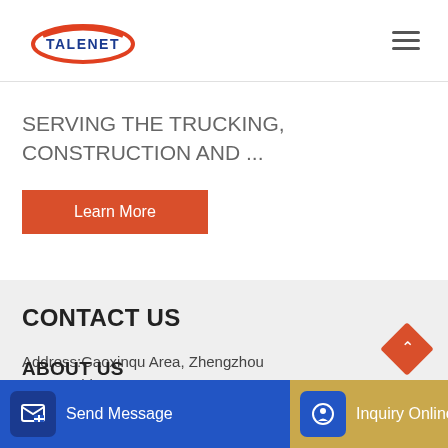[Figure (logo): Talenet logo with red oval/swoosh and blue text TALENET]
SERVING THE TRUCKING, CONSTRUCTION AND ...
Learn More
CONTACT US
Address:Gaoxinqu Area, Zhengzhou Henan China
Email:sales@talenets.com
Phone: 0086-371-09220...
ABOUT US
Send Message
Inquiry Online